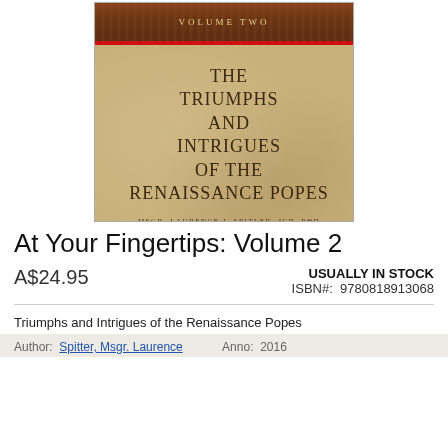[Figure (illustration): Book cover for 'The Triumphs and Intrigues of the Renaissance Popes, Volume Two' by Msgr. Laurence J. Spitler, JCD, PHD. Tan/parchment background with dark serif title text, decorative top band with architectural imagery, red horizontal line, and publisher logo at bottom.]
At Your Fingertips: Volume 2
A$24.95
USUALLY IN STOCK
ISBN#:  9780818913068
Triumphs and Intrigues of the Renaissance Popes